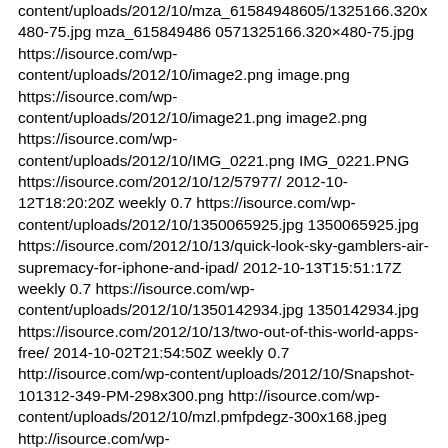content/uploads/2012/10/mza_61584948605/1325166.320x480-75.jpg mza_615849486 0571325166.320×480-75.jpg https://isource.com/wp-content/uploads/2012/10/image2.png image.png https://isource.com/wp-content/uploads/2012/10/image21.png image2.png https://isource.com/wp-content/uploads/2012/10/IMG_0221.png IMG_0221.PNG https://isource.com/2012/10/12/57977/ 2012-10-12T18:20:20Z weekly 0.7 https://isource.com/wp-content/uploads/2012/10/1350065925.jpg 1350065925.jpg https://isource.com/2012/10/13/quick-look-sky-gamblers-air-supremacy-for-iphone-and-ipad/ 2012-10-13T15:51:17Z weekly 0.7 https://isource.com/wp-content/uploads/2012/10/1350142934.jpg 1350142934.jpg https://isource.com/2012/10/13/two-out-of-this-world-apps-free/ 2014-10-02T21:54:50Z weekly 0.7 http://isource.com/wp-content/uploads/2012/10/Snapshot-101312-349-PM-298x300.png http://isource.com/wp-content/uploads/2012/10/mzl.pmfpdegz-300x168.jpeg http://isource.com/wp-content/uploads/2012/10/mzl.enchpixn-300x168.jpeg http://isource.com/wp-content/uploads/2012/10/mzl.mckcnrfb-300x168.jpeg http://isource.com/wp-content/uploads/2012/10/Solar-Walk-Saturn_thumb-300x224.jpg http://isource.com/wp-content/uploads/2012/10/Saturn-Info-300x224.jpeg https://isource.com/2012/10/14/review-zaggkeys-pro-plus-bluetooth-keyboard-for-the-ipad-2-and-new-ipad/ 2012-